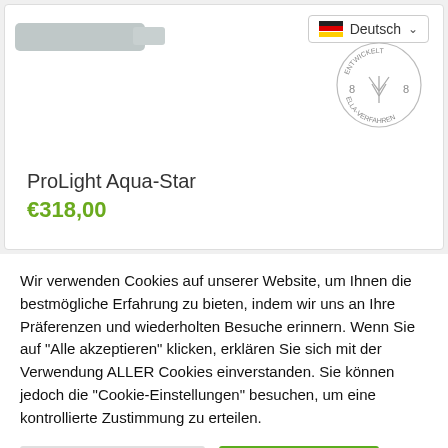[Figure (screenshot): Product card showing ProLight Aqua-Star item with grey product image on top left, German language selector dropdown top right, and ELLA-VERFAHREN certification stamp circle]
ProLight Aqua-Star
€318,00
Wir verwenden Cookies auf unserer Website, um Ihnen die bestmögliche Erfahrung zu bieten, indem wir uns an Ihre Präferenzen und wiederholten Besuche erinnern. Wenn Sie auf "Alle akzeptieren" klicken, erklären Sie sich mit der Verwendung ALLER Cookies einverstanden. Sie können jedoch die "Cookie-Einstellungen" besuchen, um eine kontrollierte Zustimmung zu erteilen.
Cookie Einstellungen
Alle Akzeptieren